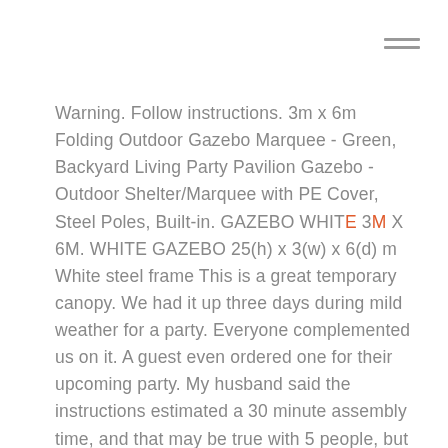[Figure (other): Hamburger menu icon (three horizontal lines) in top-right corner]
Warning. Follow instructions. 3m x 6m Folding Outdoor Gazebo Marquee - Green, Backyard Living Party Pavilion Gazebo - Outdoor Shelter/Marquee with PE Cover, Steel Poles, Built-in. GAZEBO WHITE 3M X 6M. WHITE GAZEBO 25(h) x 3(w) x 6(d) m White steel frame This is a great temporary canopy. We had it up three days during mild weather for a party. Everyone complemented us on it. A guest even ordered one for their upcoming party. My husband said the instructions estimated a 30 minute assembly time, and that may be true with 5 people, but as a lone job give yourself a few hours.